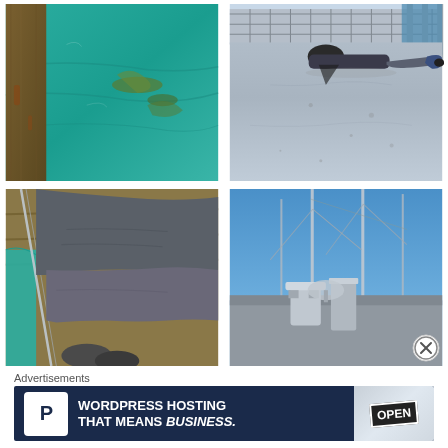[Figure (photo): Close-up of weathered wooden dock planks with teal/green water and algae/seaweed visible below]
[Figure (photo): Person lying face-down on a concrete pier/dock surface near water, metal railing visible in background]
[Figure (photo): Person lying on wooden dock close-up, gray clothing, teal water visible below dock edge]
[Figure (photo): Marina with boat masts against blue sky, metal cleats and equipment visible]
Advertisements
[Figure (screenshot): Advertisement banner: WordPress Hosting That Means BUSINESS. with P logo on dark navy background and OPEN sign image on right]